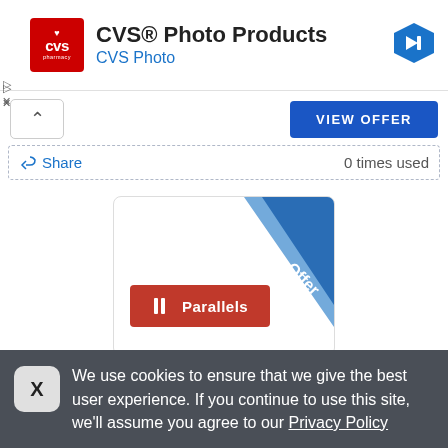CVS® Photo Products
CVS Photo
[Figure (logo): CVS Pharmacy red square logo with heart icon]
[Figure (logo): Blue diamond navigation arrow icon]
VIEW OFFER
Share
0 times used
[Figure (logo): Parallels offer card with blue diagonal ribbon labeled Offer and red Parallels logo]
We use cookies to ensure that we give the best user experience. If you continue to use this site, we'll assume you agree to our Privacy Policy